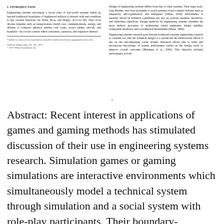1. INTRODUCTION
Engineering systems encompass a broad class of real-world systems which go beyond traditional boundaries of engineered artifacts to interact with and contribute to key societal functions [de Weck, Roos, and Magee, 2011:31–38]. They cross diverse domains such as transportation, health care, communications, energy, and defense to compose physical entities—rail roads, power plants, aircraft, and hospitals—in a social context where customers, operators, and regulators interact.
*Author to whom all correspondence should be addressed (e-mail: pgirgen@stevens.edu).
Systems Engineering, Vol., No., 2017
© 2017 Wiley Periodicals, Inc.
Design of engineering systems differs from that of other systems. Their large scale, long lifetime, and close proximity to social systems evoke complex features such as adaptation, self-organization, and emergence [Ottino, 2004]. Performance is partially driven by technical capabilities but also by policies, markets, incentives, and individual objectives. Design methods for engineering systems resemble the more indirect processes of architecting which emphasize design stability, component interfaces, and coordination mechanisms [Maier, 1998].
Engineering systems research goes beyond traditional systems engineering research to consider not only the technical design of a system but the bidirectional effects it has on the encompassing social system. Research efforts aim to build and incorporate knowledge of system performance earlier in the design cycle to improve overall outcomes [Hansman et al., 2006]. This objective includes performance at both
1
Abstract: Recent interest in applications of games and gaming methods has stimulated discussion of their use in engineering systems research. Simulation games or gaming simulations are interactive environments which simultaneously model a technical system through simulation and a social system with role-play participants. Their boundary-spanning nature aligns with challenges in engineering systems to consider both technical and social factors in design. This paper outlines a class of gaming methods for research in engineering systems.